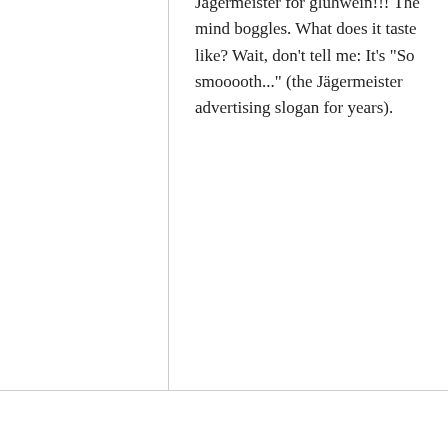Jägermeister for glühwein!!! The mind boggles. What does it taste like? Wait, don't tell me: It's "So smooooth..." (the Jägermeister advertising slogan for years).
tiptup
24
Merry